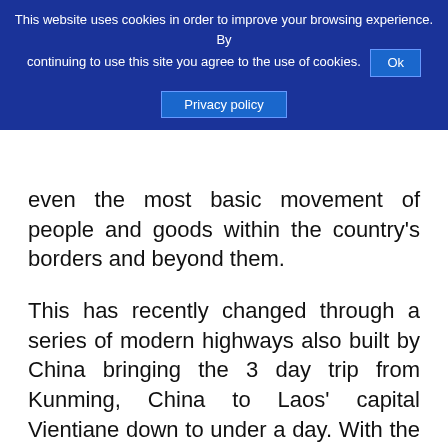This website uses cookies in order to improve your browsing experience. By continuing to use this site you agree to the use of cookies. Ok
Privacy policy
even the most basic movement of people and goods within the country's borders and beyond them.
This has recently changed through a series of modern highways also built by China bringing the 3 day trip from Kunming, China to Laos' capital Vientiane down to under a day. With the high speed railway now in operation, goods and people will move even faster with the trip from Vientiane near the Thai-Laos border to Laos' border with China taking only 3 hours.
Laos has to build the 460 kilometers China...